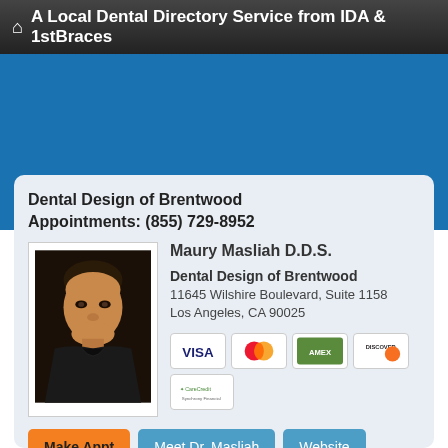A Local Dental Directory Service from IDA & 1stBraces
Dental Design of Brentwood
Appointments: (855) 729-8952
[Figure (photo): Headshot photo of Dr. Maury Masliah, a smiling man in a dark jacket]
Maury Masliah D.D.S.
Dental Design of Brentwood
11645 Wilshire Boulevard, Suite 1158
Los Angeles, CA 90025
[Figure (other): Payment method icons: Visa, MasterCard, American Express, Discover, CareCredit]
Make Appt   Meet Dr. Masliah   Website
more info ...